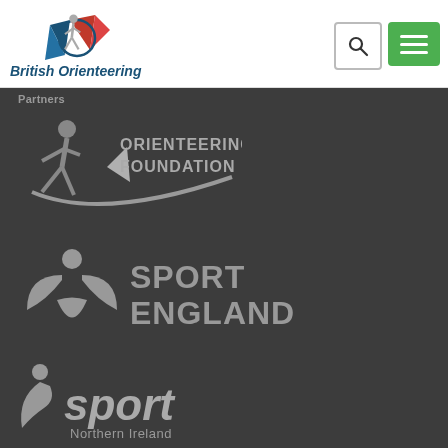[Figure (logo): British Orienteering logo — runner figure with compass rose, red and blue, with text 'British Orienteering' below]
[Figure (other): Search button (magnifying glass icon) and green hamburger menu button in page header]
Partners
[Figure (logo): Orienteering Foundation logo — grey runner figure with compass and swoosh, text 'ORIENTEERING FOUNDATION']
[Figure (logo): Sport England logo — grey stylized person figure with leaves, text 'SPORT ENGLAND']
[Figure (logo): Sport Northern Ireland logo — grey stylized person with dot, text 'sport Northern Ireland']